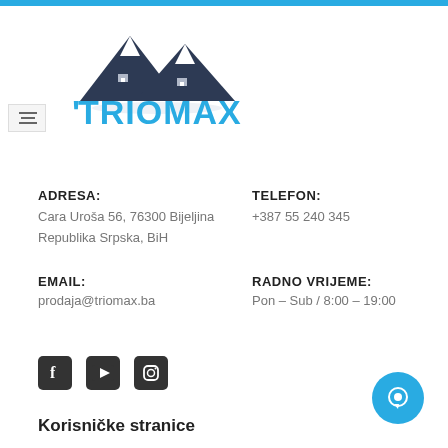[Figure (logo): Triomax real estate logo with mountain/house silhouette in dark navy and 'TRIOMAX' in cyan/blue text]
ADRESA:
Cara Uroša 56, 76300 Bijeljina
Republika Srpska, BiH
TELEFON:
+387 55 240 345
EMAIL:
prodaja@triomax.ba
RADNO VRIJEME:
Pon – Sub / 8:00 – 19:00
[Figure (illustration): Social media icons: Facebook, YouTube, Instagram]
Korisničke stranice